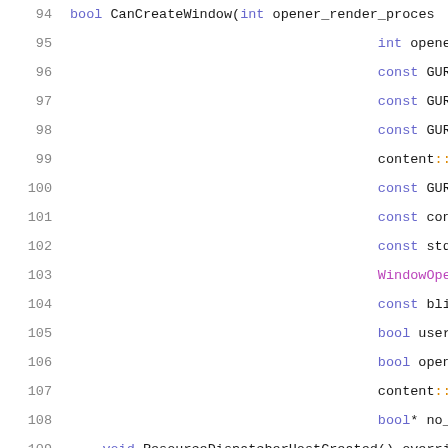[Figure (screenshot): Source code listing showing C++ method signatures with line numbers 94-115, featuring syntax highlighting with purple/blue keywords, orange namespace separators, and dark text for identifiers.]